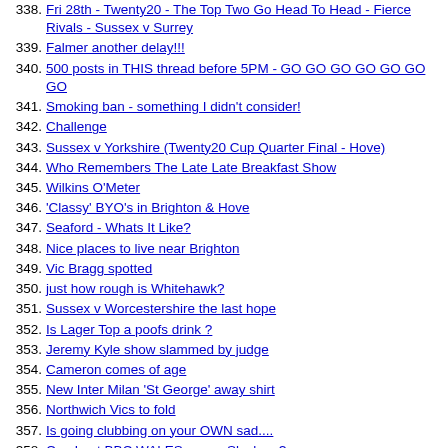338. Fri 28th - Twenty20 - The Top Two Go Head To Head - Fierce Rivals - Sussex v Surrey
339. Falmer another delay!!!
340. 500 posts in THIS thread before 5PM - GO GO GO GO GO GO GO
341. Smoking ban - something I didn't consider!
342. Challenge
343. Sussex v Yorkshire (Twenty20 Cup Quarter Final - Hove)
344. Who Remembers The Late Late Breakfast Show
345. Wilkins O'Meter
346. 'Classy' BYO's in Brighton & Hove
347. Seaford - Whats It Like?
348. Nice places to live near Brighton
349. Vic Bragg spotted
350. just how rough is Whitehawk?
351. Sussex v Worcestershire the last hope
352. Is Lager Top a poofs drink ?
353. Jeremy Kyle show slammed by judge
354. Cameron comes of age
355. New Inter Milan 'St George' away shirt
356. Northwich Vics to fold
357. Is going clubbing on your OWN sad....
358. Can I get BBC WALES on my Sky box ?
359. Today's Daily Mirror 'ValueScope' Tips
360. Ian Botham - Put Up or Shut Up
361. Unstantiated rumours
362. Knock Knock Jokes
363. Panto Season is upon us so it makes sense to ask NSC